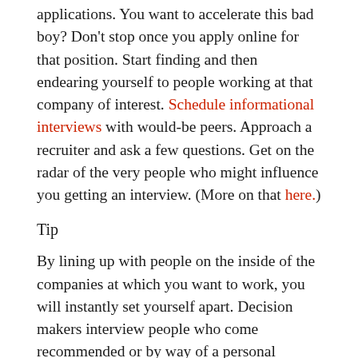applications. You want to accelerate this bad boy? Don't stop once you apply online for that position. Start finding and then endearing yourself to people working at that company of interest. Schedule informational interviews with would-be peers. Approach a recruiter and ask a few questions. Get on the radar of the very people who might influence you getting an interview. (More on that here.)
Tip
By lining up with people on the inside of the companies at which you want to work, you will instantly set yourself apart. Decision makers interview people who come recommended or by way of a personal referral before they start sorting through the blob of resumes that arrives by way of